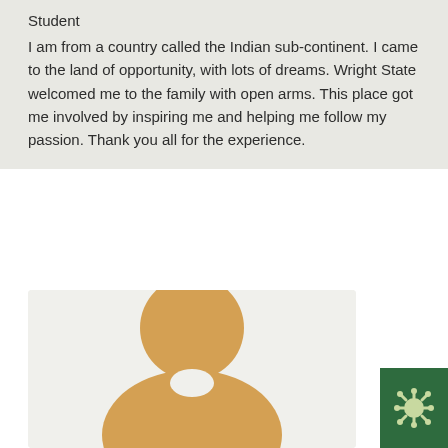Student
I am from a country called the Indian sub-continent. I came to the land of opportunity, with lots of dreams. Wright State welcomed me to the family with open arms. This place got me involved by inspiring me and helping me follow my passion. Thank you all for the experience.
[Figure (illustration): Default user avatar silhouette in golden/tan color on a light gray background, showing a circular head and rounded shoulder/torso shape.]